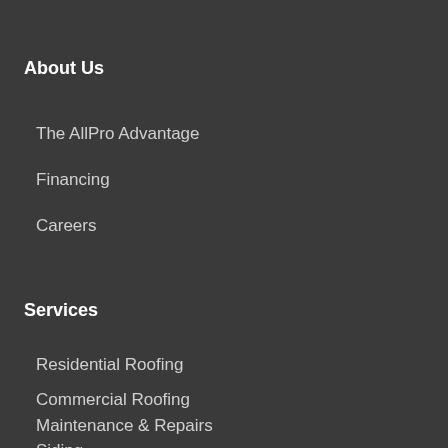About Us
The AllPro Advantage
Financing
Careers
Services
Residential Roofing
Commercial Roofing
Maintenance & Repairs
Siding